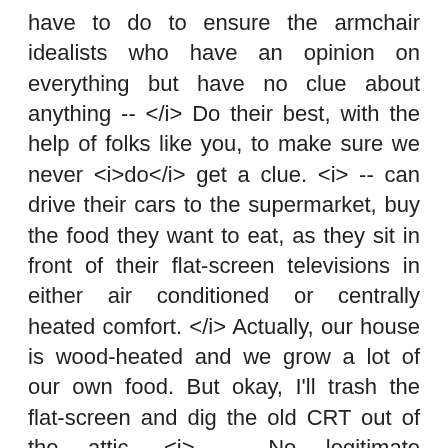have to do to ensure the armchair idealists who have an opinion on everything but have no clue about anything -- </i> Do their best, with the help of folks like you, to make sure we never <i>do</i> get a clue. <i> -- can drive their cars to the supermarket, buy the food they want to eat, as they sit in front of their flat-screen televisions in either air conditioned or centrally heated comfort. </i> Actually, our house is wood-heated and we grow a lot of our own food. But okay, I'll trash the flat-screen and dig the old CRT out of the attic. <i> -- No legitimate companies or organisations, I repeat, no legitimate companies or organisations hold meetings with an agenda item that says – how do we screw the consumer</i> Of course